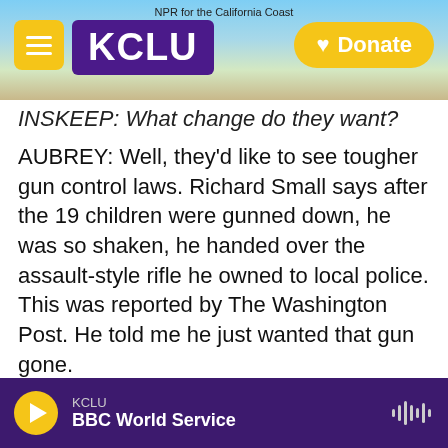NPR for the California Coast | KCLU | Donate
INSKEEP: What change do they want?
AUBREY: Well, they'd like to see tougher gun control laws. Richard Small says after the 19 children were gunned down, he was so shaken, he handed over the assault-style rifle he owned to local police. This was reported by The Washington Post. He told me he just wanted that gun gone.
SMALL: I had an epiphany of - I'm done. I don't need it. It's a bad, deadly combination in the wrong hands.
AUBREY: Gerardo Marquez has strong feelings, too.
KCLU | BBC World Service